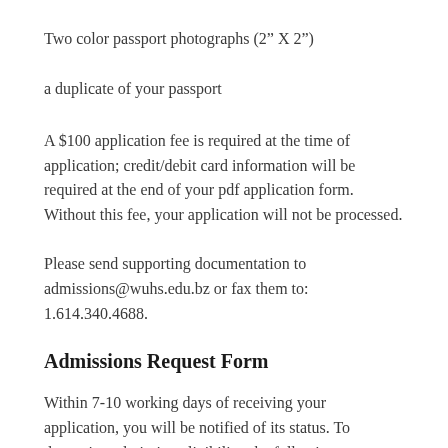Two color passport photographs (2" X 2")
a duplicate of your passport
A $100 application fee is required at the time of application; credit/debit card information will be required at the end of your pdf application form. Without this fee, your application will not be processed.
Please send supporting documentation to admissions@wuhs.edu.bz or fax them to: 1.614.340.4688.
Admissions Request Form
Within 7-10 working days of receiving your application, you will be notified of its status. To determine admission eligibility, the following documents must be submitted. If